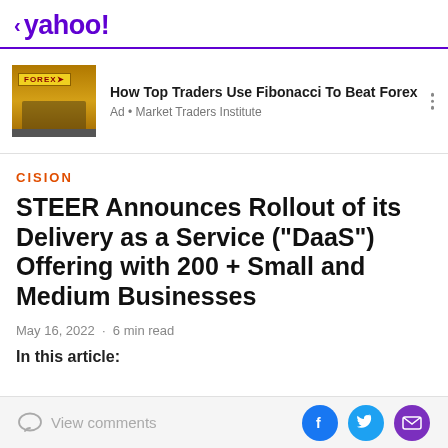< yahoo!
[Figure (photo): Ad banner with Forex storefront image. Ad title: How Top Traders Use Fibonacci To Beat Forex. Ad source: Market Traders Institute]
CISION
STEER Announces Rollout of its Delivery as a Service ("DaaS") Offering with 200 + Small and Medium Businesses
May 16, 2022 · 6 min read
In this article:
View comments